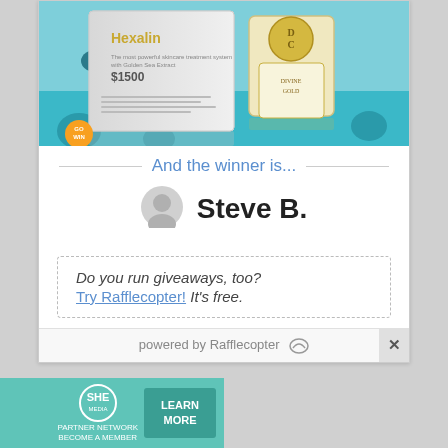[Figure (photo): Product image showing Hexalin skincare product box ($1500) and a D&C brand perfume/cream bottle against an underwater/ocean background with coral and fish]
And the winner is...
[Figure (illustration): Generic user avatar (grey circle with head silhouette)]
Steve B.
Do you run giveaways, too? Try Rafflecopter! It's free.
powered by Rafflecopter
[Figure (infographic): SHE Partner Network advertisement banner with woman photo, bullet points: Earning site & social revenue, Traffic growth, Speaking on our stages. Includes LEARN MORE button.]